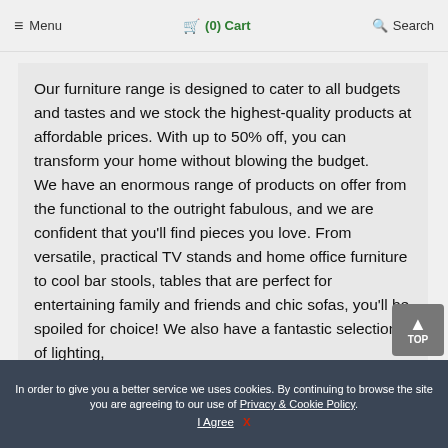≡ Menu  🛒 (0) Cart  🔍 Search
Our furniture range is designed to cater to all budgets and tastes and we stock the highest-quality products at affordable prices. With up to 50% off, you can transform your home without blowing the budget. We have an enormous range of products on offer from the functional to the outright fabulous, and we are confident that you'll find pieces you love. From versatile, practical TV stands and home office furniture to cool bar stools, tables that are perfect for entertaining family and friends and chic sofas, you'll be spoiled for choice! We also have a fantastic selection of lighting,
In order to give you a better service we uses cookies. By continuing to browse the site you are agreeing to our use of Privacy & Cookie Policy.
I Agree  X